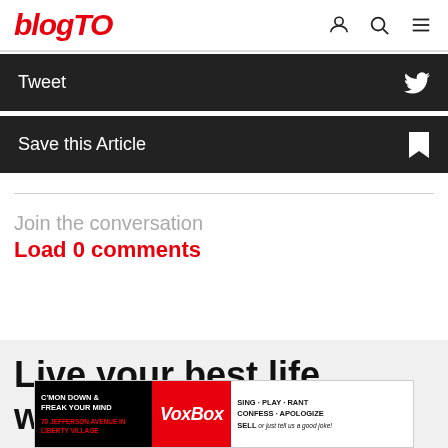blogTO
Tweet
Save this Article
Join the conversation
Load 0 comments
Live your best life with the blogTO app
[Figure (other): VoxBox advertisement banner: C'MON DOWN & FREAK YOUR MIND - VoxBox - SING · PLAY · RANT · CONFESS · APOLOGIZE · SELL or just tell us a good joke! 70 Jefferson Avenue in Liberty Village]